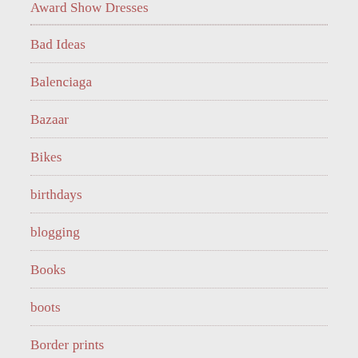Award Show Dresses
Bad Ideas
Balenciaga
Bazaar
Bikes
birthdays
blogging
Books
boots
Border prints